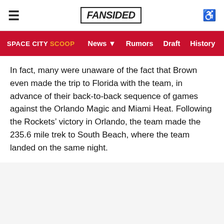FanSided | Space City Scoop — News, Rumors, Draft, History, All-Time
In fact, many were unaware of the fact that Brown even made the trip to Florida with the team, in advance of their back-to-back sequence of games against the Orlando Magic and Miami Heat. Following the Rockets' victory in Orlando, the team made the 235.6 mile trek to South Beach, where the team landed on the same night.